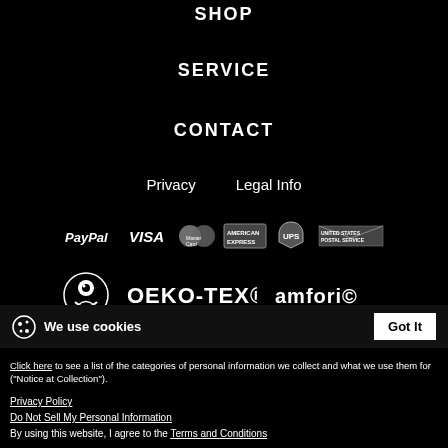SHOP
SERVICE
CONTACT
Privacy   Legal Info
[Figure (logo): Payment method logos: PayPal, VISA, MasterCard, American Express, UPS, United States Postal Service]
[Figure (logo): Certification logos: Fairtrade, OEKO-TEX®, amfori©]
We use cookies
Click here to see a list of the categories of personal information we collect and what we use them for ("Notice at Collection").
Privacy Policy
Do Not Sell My Personal Information
By using this website, I agree to the Terms and Conditions